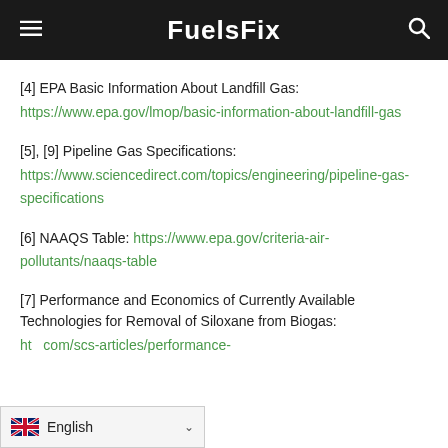FuelsFix
[4] EPA Basic Information About Landfill Gas: https://www.epa.gov/lmop/basic-information-about-landfill-gas
[5], [9] Pipeline Gas Specifications: https://www.sciencedirect.com/topics/engineering/pipeline-gas-specifications
[6] NAAQS Table: https://www.epa.gov/criteria-air-pollutants/naaqs-table
[7] Performance and Economics of Currently Available Technologies for Removal of Siloxane from Biogas: ht...com/scs-articles/performance-